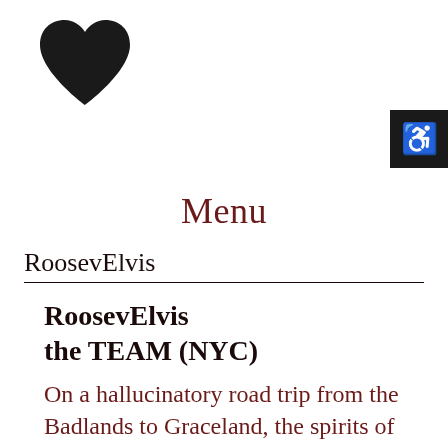[Figure (illustration): Black heart icon in upper left corner]
[Figure (illustration): Accessibility icon (wheelchair symbol) in white on black background, upper right corner]
Menu
RoosevElvis
RoosevElvis the TEAM (NYC)
On a hallucinatory road trip from the Badlands to Graceland, the spirits of Elvis Presley and Theodore Roosevelt battle over the soul of Ann, a painfully shy meat-